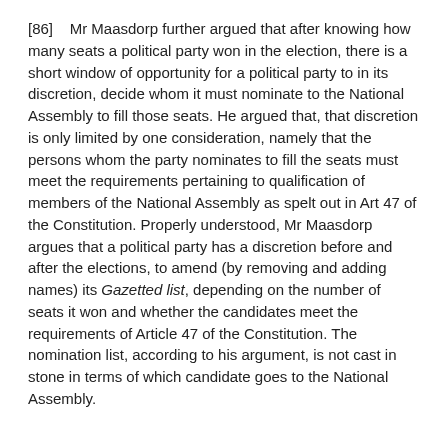[86]    Mr Maasdorp further argued that after knowing how many seats a political party won in the election, there is a short window of opportunity for a political party to in its discretion, decide whom it must nominate to the National Assembly to fill those seats. He argued that, that discretion is only limited by one consideration, namely that the persons whom the party nominates to fill the seats must meet the requirements pertaining to qualification of members of the National Assembly as spelt out in Art 47 of the Constitution. Properly understood, Mr Maasdorp argues that a political party has a discretion before and after the elections, to amend (by removing and adding names) its Gazetted list, depending on the number of seats it won and whether the candidates meet the requirements of Article 47 of the Constitution. The nomination list, according to his argument, is not cast in stone in terms of which candidate goes to the National Assembly.
[87]    Mr Tjombe for the applicants has a view that is diametrically opposed to that of Mr Maasdorp. He argued that Article 45 of the Constitution clearly provides that 'the members of the National Assembly shall be representative of all the people. . .' It is